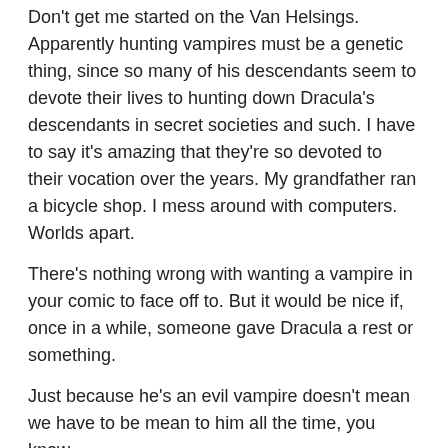Don't get me started on the Van Helsings. Apparently hunting vampires must be a genetic thing, since so many of his descendants seem to devote their lives to hunting down Dracula's descendants in secret societies and such. I have to say it's amazing that they're so devoted to their vocation over the years. My grandfather ran a bicycle shop. I mess around with computers. Worlds apart.
There's nothing wrong with wanting a vampire in your comic to face off to. But it would be nice if, once in a while, someone gave Dracula a rest or something.
Just because he's an evil vampire doesn't mean we have to be mean to him all the time, you know.
In Jest,
Ping
*Known. Goodness knows how many others he kept while touring the world.